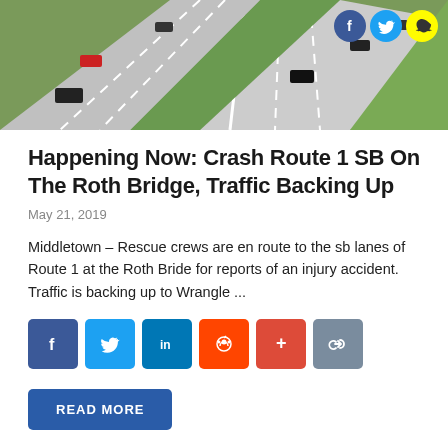[Figure (photo): Aerial view of a multi-lane highway with cars driving on it, green grass median visible, social media icons (Facebook, Twitter, Snapchat) overlaid in top-right corner]
Happening Now: Crash Route 1 SB On The Roth Bridge, Traffic Backing Up
May 21, 2019
Middletown – Rescue crews are en route to the sb lanes of Route 1 at the Roth Bride for reports of an injury accident. Traffic is backing up to Wrangle ...
Social share buttons: Facebook, Twitter, LinkedIn, Reddit, Plus, Link
READ MORE